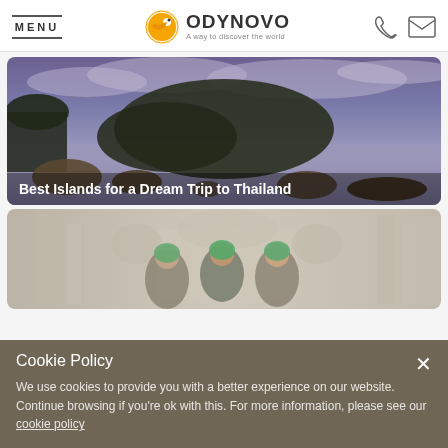MENU | ODYNOVO A way to discover the world
[Figure (photo): Tropical island with rocky coastline at dusk, dramatic purple-blue sky with clouds, calm water reflecting the sky]
Best Islands for a Dream Trip to Thailand
[Figure (photo): Women in colorful head scarves in front of an ornate mosque or palace with domes and minarets]
Cookie Policy
We use cookies to provide you with a better experience on our website. Continue browsing if you're ok with this. For more information, please see our cookie policy